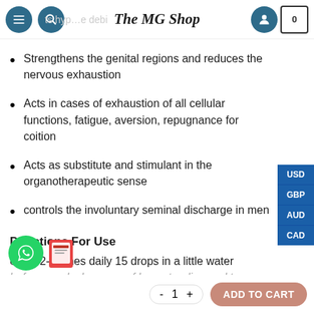The MG Shop
Strengthens the genital regions and reduces the nervous exhaustion
Acts in cases of exhaustion of all cellular functions, fatigue, aversion, repugnance for coition
Acts as substitute and stimulant in the organotherapeutic sense
controls the involuntary seminal discharge in men
Directions For Use
erally 2-3 times daily 15 drops in a little water before meals. In cases of long standing and to achieve a more rapid result pr 2...